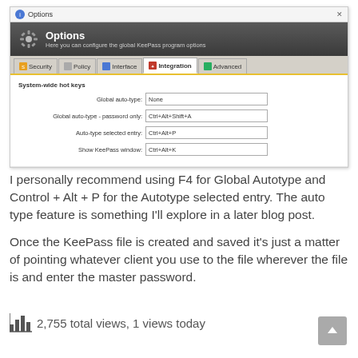[Figure (screenshot): KeePass Options dialog showing Integration tab with System-wide hot keys settings: Global auto-type: None, Global auto-type - password only: Ctrl+Alt+Shift+A, Auto-type selected entry: Ctrl+Alt+P, Show KeePass window: Ctrl+Alt+K]
I personally recommend using F4 for Global Autotype and Control + Alt + P for the Autotype selected entry. The auto type feature is something I'll explore in a later blog post.
Once the KeePass file is created and saved it's just a matter of pointing whatever client you use to the file wherever the file is and enter the master password.
2,755 total views,  1 views today